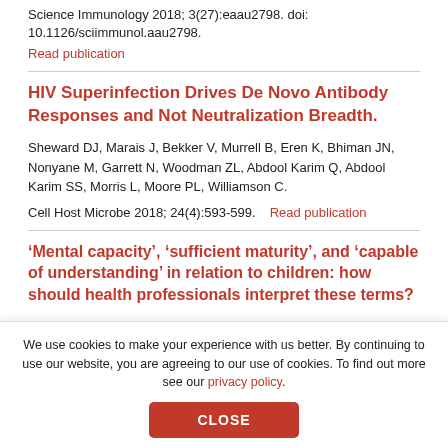Science Immunology 2018; 3(27):eaau2798. doi: 10.1126/sciimmunol.aau2798.
Read publication
HIV Superinfection Drives De Novo Antibody Responses and Not Neutralization Breadth.
Sheward DJ, Marais J, Bekker V, Murrell B, Eren K, Bhiman JN, Nonyane M, Garrett N, Woodman ZL, Abdool Karim Q, Abdool Karim SS, Morris L, Moore PL, Williamson C.
Cell Host Microbe 2018; 24(4):593-599.
Read publication
‘Mental capacity’, ‘sufficient maturity’, and ‘capable of understanding’ in relation to children: how should health professionals interpret these terms?
We use cookies to make your experience with us better. By continuing to use our website, you are agreeing to our use of cookies. To find out more see our privacy policy.
CLOSE